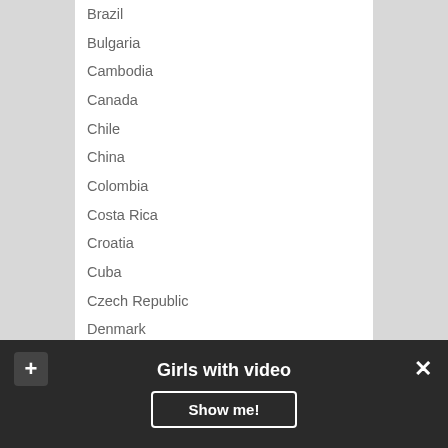Brazil
Bulgaria
Cambodia
Canada
Chile
China
Colombia
Costa Rica
Croatia
Cuba
Czech Republic
Denmark
Dominican Republic
Egypt
England
Estonia
Finland
France
Girls with video
Show me!